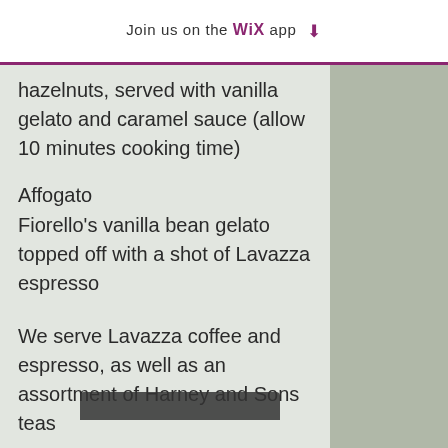Join us on the WiX app ⬇
hazelnuts, served with vanilla gelato and caramel sauce (allow 10 minutes cooking time)
Affogato
Fiorello's vanilla bean gelato topped off with a shot of Lavazza espresso
We serve Lavazza coffee and espresso, as well as an assortment of Harney and Sons teas